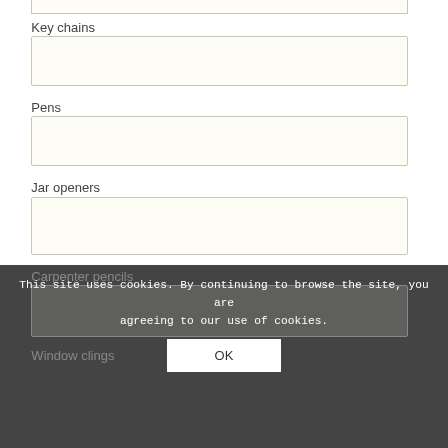Key chains
Pens
Jar openers
Carpenter pencils
Window clings
This site uses cookies. By continuing to browse the site, you are agreeing to our use of cookies.
OK